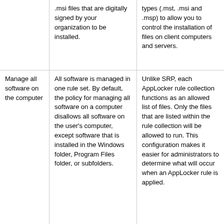|  | .msi files that are digitally signed by your organization to be installed. | types (.mst, .msi and .msp) to allow you to control the installation of files on client computers and servers. |
| Manage all software on the computer | All software is managed in one rule set. By default, the policy for managing all software on a computer disallows all software on the user's computer, except software that is installed in the Windows folder, Program Files folder, or subfolders. | Unlike SRP, each AppLocker rule collection functions as an allowed list of files. Only the files that are listed within the rule collection will be allowed to run. This configuration makes it easier for administrators to determine what will occur when an AppLocker rule is applied. |